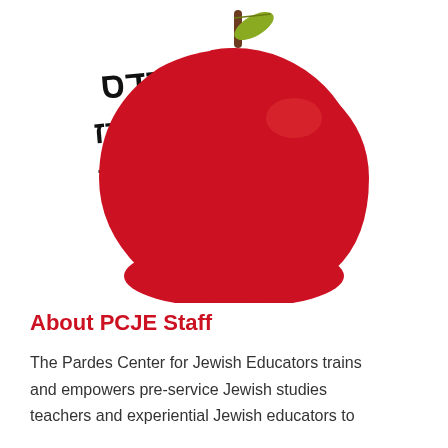[Figure (logo): Pardes Center for Jewish Educators logo: a large red apple with Hebrew text in black on the left side, and a brown stem with a green leaf at the top.]
About PCJE Staff
The Pardes Center for Jewish Educators trains and empowers pre-service Jewish studies teachers and experiential Jewish educators to